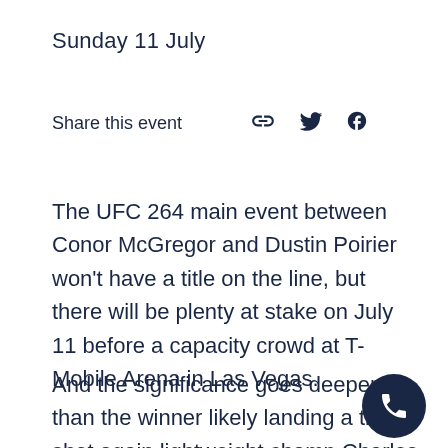Sunday 11 July
Share this event
The UFC 264 main event between Conor McGregor and Dustin Poirier won't have a title on the line, but there will be plenty at stake on July 11 before a capacity crowd at T-Mobile Arena in Las Vegas.
And the significance goes deeper than the winner likely landing a title shot again lightweight champ Charles Oliveira,